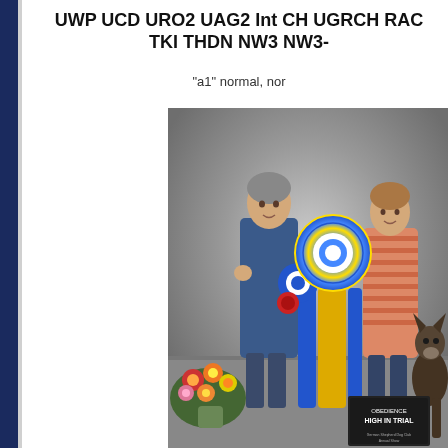UWP UCD URO2 UAG2 Int CH UGRCH RAC TKI THDN NW3 NW3-
"a1" normal, nor
[Figure (photo): Two women standing with a German Shepherd dog in a show photo. The woman on the left is wearing a dark blue jacket and holding a large blue and gold rosette ribbon and a blue ribbon. The woman on the right is wearing a striped sweater. There is a floral arrangement at the bottom left and a sign reading 'OBEDIENCE HIGH IN TRIAL' at the bottom right.]